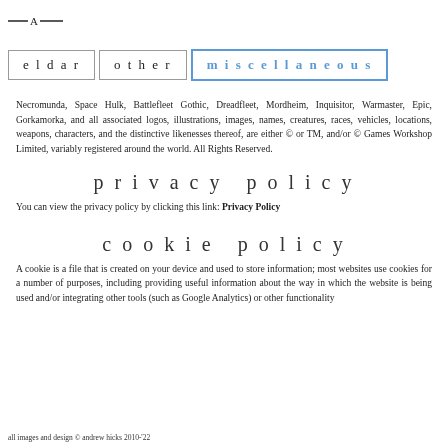— A —
eldar   other   miscellaneous
Necromunda, Space Hulk, Battlefleet Gothic, Dreadfleet, Mordheim, Inquisitor, Warmaster, Epic, Gorkamorka, and all associated logos, illustrations, images, names, creatures, races, vehicles, locations, weapons, characters, and the distinctive likenesses thereof, are either © or TM, and/or © Games Workshop Limited, variably registered around the world. All Rights Reserved.
privacy policy
You can view the privacy policy by clicking this link: Privacy Policy
cookie policy
A cookie is a file that is created on your device and used to store information; most websites use cookies for a number of purposes, including providing useful information about the way in which the website is being used and/or integrating other tools (such as Google Analytics) or other functionality
all images and design © andrew hicks 2010-'22